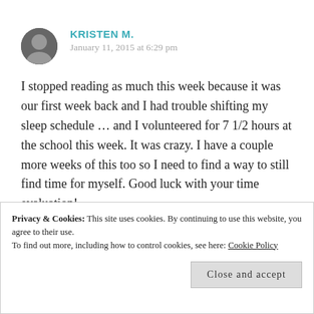KRISTEN M.
January 11, 2015 at 6:29 pm
I stopped reading as much this week because it was our first week back and I had trouble shifting my sleep schedule … and I volunteered for 7 1/2 hours at the school this week. It was crazy. I have a couple more weeks of this too so I need to find a way to still find time for myself. Good luck with your time evaluation!
Privacy & Cookies: This site uses cookies. By continuing to use this website, you agree to their use. To find out more, including how to control cookies, see here: Cookie Policy
Close and accept